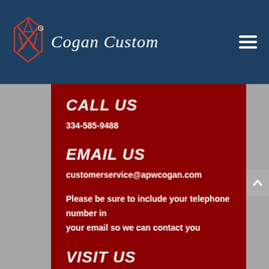[Figure (logo): Cogan Custom logo with APW monogram and text on dark blue navigation bar]
CALL US
334-585-9488
EMAIL US
customerservice@apwcogan.com
Please be sure to include your telephone number in your email so we can contact you
VISIT US
5229 County Road 99